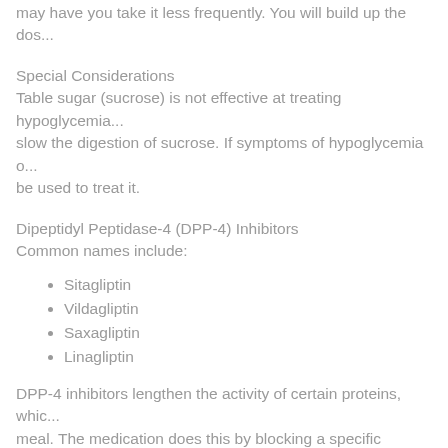may have you take it less frequently. You will build up the dos...
Special Considerations
Table sugar (sucrose) is not effective at treating hypoglycemia... slow the digestion of sucrose. If symptoms of hypoglycemia o... be used to treat it.
Dipeptidyl Peptidase-4 (DPP-4) Inhibitors
Common names include:
Sitagliptin
Vildagliptin
Saxagliptin
Linagliptin
DPP-4 inhibitors lengthen the activity of certain proteins, whic... meal. The medication does this by blocking a specific enzyme... drugs can enhance your body's own ability to reduce the elev...